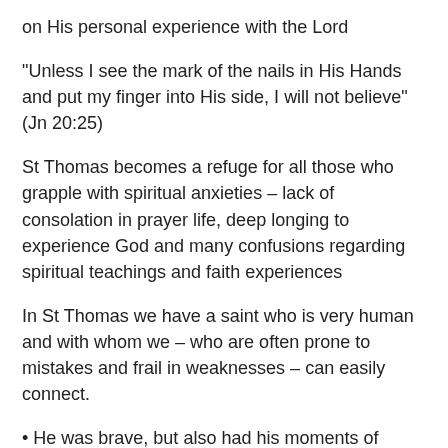on His personal experience with the Lord
“Unless I see the mark of the nails in His Hands and put my finger into His side, I will not believe” (Jn 20:25)
St Thomas becomes a refuge for all those who grapple with spiritual anxieties – lack of consolation in prayer life, deep longing to experience God and many confusions regarding spiritual teachings and faith experiences
In St Thomas we have a saint who is very human and with whom we – who are often prone to mistakes and frail in weaknesses – can easily connect.
• He was brave, but also had his moments of feeling